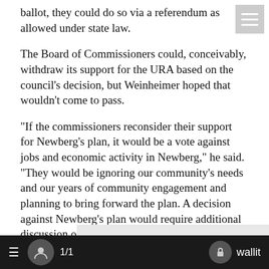ballot, they could do so via a referendum as allowed under state law.
The Board of Commissioners could, conceivably, withdraw its support for the URA based on the council's decision, but Weinheimer hoped that wouldn't come to pass.
"If the commissioners reconsider their support for Newberg's plan, it would be a vote against jobs and economic activity in Newberg," he said. "They would be ignoring our community's needs and our years of community engagement and planning to bring forward the plan. A decision against Newberg's plan would require additional discussion on options at that time."
[Figure (other): Advertisement block with bold red text reading JOIN US TO SAVE LOCAL NEWS on a light gray background]
≡  [user icon]  1/1  [lock icon] wallit